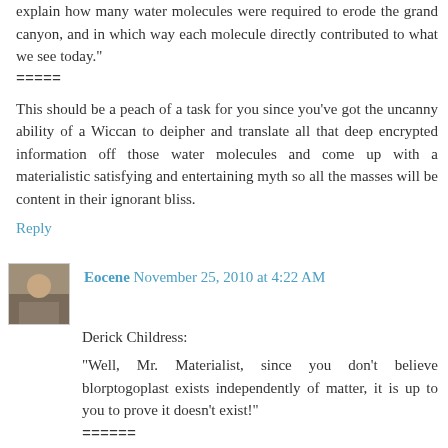explain how many water molecules were required to erode the grand canyon, and in which way each molecule directly contributed to what we see today."
=====
This should be a peach of a task for you since you've got the uncanny ability of a Wiccan to deipher and translate all that deep encrypted information off those water molecules and come up with a materialistic satisfying and entertaining myth so all the masses will be content in their ignorant bliss.
Reply
Eocene November 25, 2010 at 4:22 AM
Derick Childress:
"Well, Mr. Materialist, since you don't believe blorptogoplast exists independently of matter, it is up to you to prove it doesn't exist!"
======